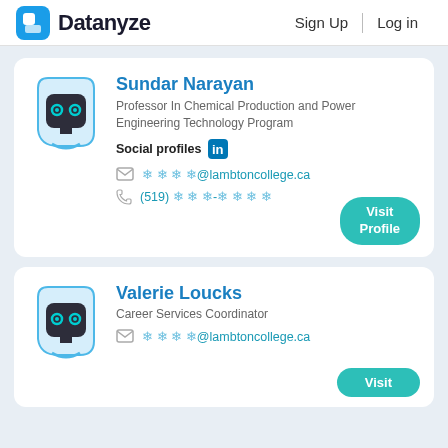Datanyze  Sign Up  Log in
Sundar Narayan
Professor In Chemical Production and Power Engineering Technology Program
Social profiles [LinkedIn]
✦✦✦✦@lambtoncollege.ca
(519) ✦✦✦-✦✦✦✦
Visit Profile
Valerie Loucks
Career Services Coordinator
✦✦✦✦@lambtoncollege.ca
Visit